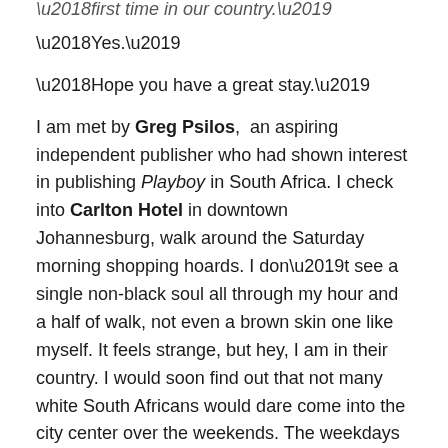‘first time in our country.’
‘Yes.’
‘Hope you have a great stay.’
I am met by Greg Psilos, an aspiring independent publisher who had shown interest in publishing Playboy in South Africa. I check into Carlton Hotel in downtown Johannesburg, walk around the Saturday morning shopping hoards. I don’t see a single non-black soul all through my hour and a half of walk, not even a brown skin one like myself. It feels strange, but hey, I am in their country. I would soon find out that not many white South Africans would dare come into the city center over the weekends. The weekdays were a different story, but that too, after work every evening, they would fly away like migrant birds and into their gated secure homes in